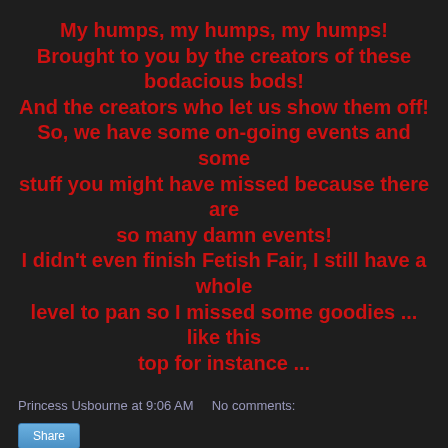My humps, my humps, my humps! Brought to you by the creators of these bodacious bods! And the creators who let us show them off! So, we have some on-going events and some stuff you might have missed because there are so many damn events! I didn't even finish Fetish Fair, I still have a whole level to pan so I missed some goodies ... like this top for instance ...
Princess Usbourne at 9:06 AM    No comments:
Share
Friday, August 10, 2018
Peekaboo